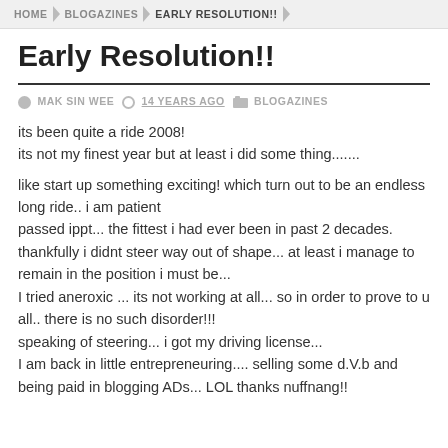HOME > BLOGAZINES > EARLY RESOLUTION!!
Early Resolution!!
MAK SIN WEE   14 YEARS AGO   BLOGAZINES
its been quite a ride 2008!
its not my finest year but at least i did some thing.......

like start up something exciting! which turn out to be an endless long ride.. i am patient
passed ippt... the fittest i had ever been in past 2 decades.
thankfully i didnt steer way out of shape... at least i manage to remain in the position i must be...
I tried aneroxic ... its not working at all... so in order to prove to u all.. there is no such disorder!!!
speaking of steering... i got my driving license...
I am back in little entrepreneuring.... selling some d.V.b and being paid in blogging ADs... LOL thanks nuffnang!!